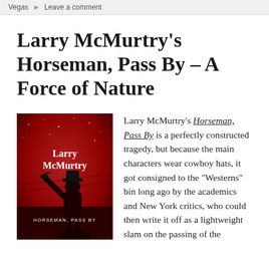Vegas → Leave a comment
Larry McMurtry's Horseman, Pass By – A Force of Nature
[Figure (photo): Book cover of 'Horseman, Pass By' by Larry McMurtry. Dark red background with a silhouette of a cowboy in a hat holding up his arm with a bird. Stars visible in the sky. Author name 'Larry McMurtry' and title 'HORSEMAN, PASS BY' in white text.]
Larry McMurtry's Horseman, Pass By is a perfectly constructed tragedy, but because the main characters wear cowboy hats, it got consigned to the "Westerns" bin long ago by the academics and New York critics, who could then write it off as a lightweight slam on the passing of the